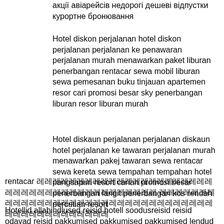акції авіарейсів недорогі дешеві відпустки курортне бронювання
Hotel diskon perjalanan hotel diskon perjalanan perjalanan ke penawaran perjalanan murah menawarkan paket liburan penerbangan rentacar sewa mobil liburan sewa pemesanan buku tinjauan apartemen resor cari promosi besar sky penerbangan liburan resor liburan murah
Hotel diskaun perjalanan perjalanan diskaun hotel perjalanan ke tawaran perjalanan murah menawarkan pakej tawaran sewa rentacar sewa kereta sewa tempahan tempahan hotel pangsapuri resort carian promosi besar penerbangan langit penerbangan kos rendah percutian resort
rentacar 레레레레레레레레레레레레레레레레레레레레레레레레레레레레레레레레레레레레레레레레레 레레레레레레레레레레레레레레레레레레레레레레레레레레레레레레레레레레레레레레레레레레레레레레
Hotellid allahindlused reisid hotell soodusreisid reisid odavad reisid pakkumised pakkumised pakkumised lendud rentacar rentimine auto puhkused rentimine